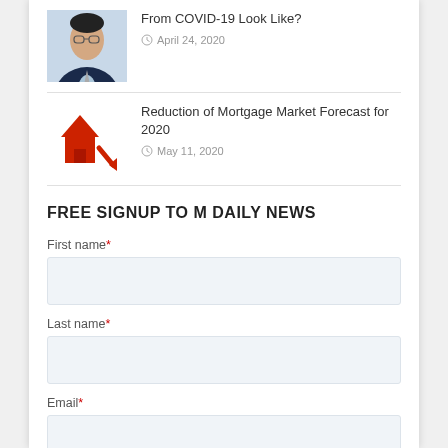[Figure (photo): Thumbnail of a man in a suit with glasses]
From COVID-19 Look Like?
April 24, 2020
[Figure (illustration): Red house icon with downward arrow indicating mortgage market decline]
Reduction of Mortgage Market Forecast for 2020
May 11, 2020
FREE SIGNUP TO M DAILY NEWS
First name*
Last name*
Email*
Phone number